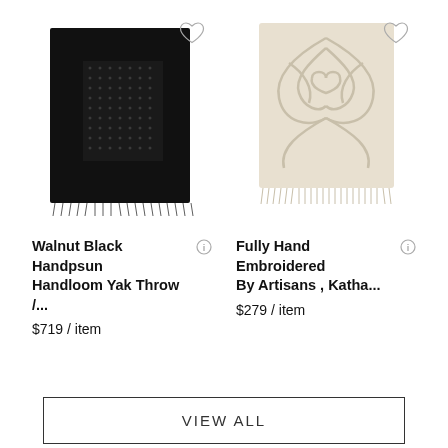[Figure (photo): Black handloom yak throw folded, showing textured dot pattern on dark fabric]
[Figure (photo): Cream/ivory hand embroidered katha textile with decorative floral/leaf pattern and fringe edge]
Walnut Black Handpsun Handloom Yak Throw /...
$719 / item
Fully Hand Embroidered By Artisans , Katha...
$279 / item
VIEW ALL